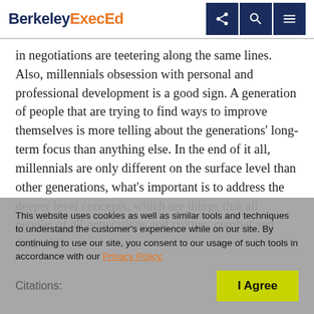Berkeley ExecEd
in negotiations are teetering along the same lines. Also, millennials obsession with personal and professional development is a good sign. A generation of people that are trying to find ways to improve themselves is more telling about the generations' long-term focus than anything else. In the end of it all, millennials are only different on the surface level than other generations, what's important is to address the deeper level concepts, which are things that all people, of all generations and culture, combat and deal with everyday. With understanding, will you work with or against the idea of diversity?
This website uses cookies as well as similar tools and techniques to understand the customer's experience while on our site. By continuing to use our site, you consent to our usage of such tools in accordance with our Privacy Policy.
Citations: